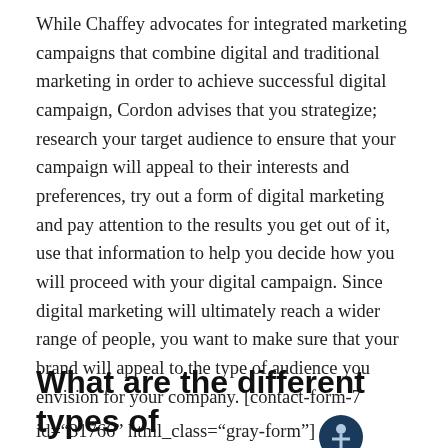While Chaffey advocates for integrated marketing campaigns that combine digital and traditional marketing in order to achieve successful digital campaign, Cordon advises that you strategize; research your target audience to ensure that your campaign will appeal to their interests and preferences, try out a form of digital marketing and pay attention to the results you get out of it, use that information to help you decide how you will proceed with your digital campaign. Since digital marketing will ultimately reach a wider range of people, you want to make sure that your brand will appeal to the type of audience you envision for your company. [contact-form-7 id="31766" html_class="gray-form"]
What are the different types of